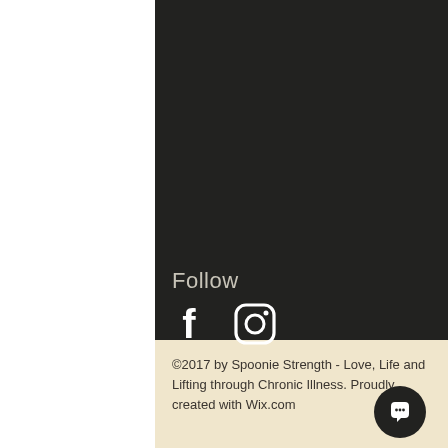Follow
[Figure (illustration): Facebook and Instagram social media icons in white on dark background]
©2017 by Spoonie Strength - Love, Life and Lifting through Chronic Illness. Proudly created with Wix.com